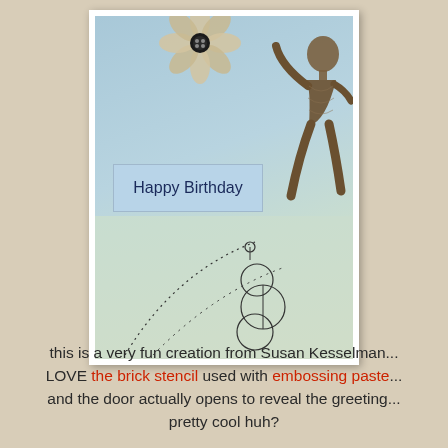[Figure (photo): A handmade greeting card featuring a textured sculptural human figure holding a large flower made of cork/paper petals with a black button center. The card has a blue-green gradient background, a 'Happy Birthday' label in a blue banner, and decorative circle stencil designs in the lower portion.]
this is a very fun creation from Susan Kesselman... LOVE the brick stencil used with embossing paste... and the door actually opens to reveal the greeting... pretty cool huh?